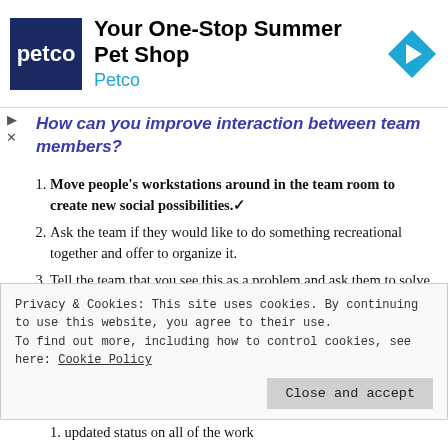[Figure (other): Petco advertisement banner with logo, title 'Your One-Stop Summer Pet Shop', and navigation arrow icon]
How can you improve interaction between team members?
Move people's workstations around in the team room to create new social possibilities.✓
Ask the team if they would like to do something recreational together and offer to organize it.
Tell the team that you see this as a problem and ask them to solve it.
Since no one has come to you with a complaint,
Privacy & Cookies: This site uses cookies. By continuing to use this website, you agree to their use.
To find out more, including how to control cookies, see here: Cookie Policy
updated status on all of the work